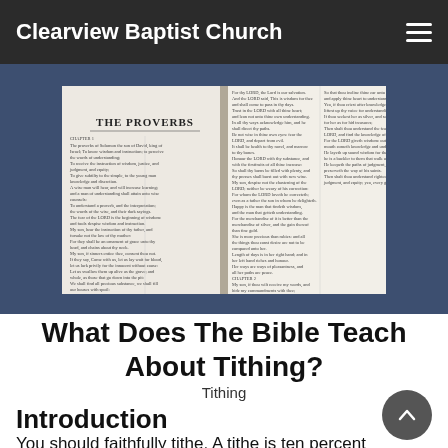Clearview Baptist Church
[Figure (photo): Open Bible showing The Proverbs, photographed from above on a dark blue leather cover background.]
What Does The Bible Teach About Tithing?
Tithing
Introduction
You should faithfully tithe. A tithe is ten percent